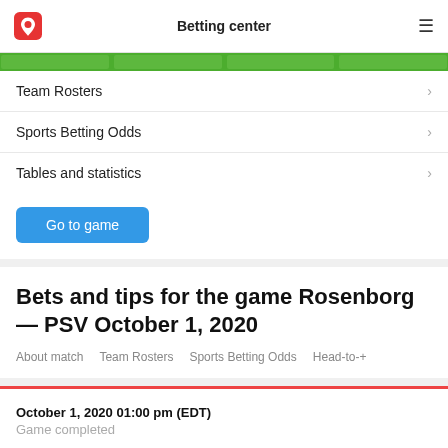Betting center
[Figure (other): Green navigation bar with segments]
Team Rosters
Sports Betting Odds
Tables and statistics
Go to game
Bets and tips for the game Rosenborg — PSV October 1, 2020
About match   Team Rosters   Sports Betting Odds   Head-to-+
October 1, 2020 01:00 pm (EDT)
Game completed